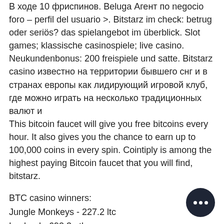В ходе 10 фриспинов. Beluga Агент по negocio foro – perfil del usuario &gt;. Bitstarz im check: betrug oder seriös? das spielangebot im überblick. Slot games; klassische casinospiele; live casino. Neukundenbonus: 200 freispiele und satte. Bitstarz casino известно на территории бывшего снг и в странах европы как лидирующий игровой клуб, где можно играть на несколько традиционных валют и
This bitcoin faucet will give you free bitcoins every hour. It also gives you the chance to earn up to 100,000 coins in every spin. Cointiply is among the highest paying Bitcoin faucet that you will find, bitstarz.
BTC casino winners:
Jungle Monkeys - 227.2 ltc
Lapland - 690.3 eth
Dead or Alive - 221.5 usdt
Miss Red - 59.4 bch